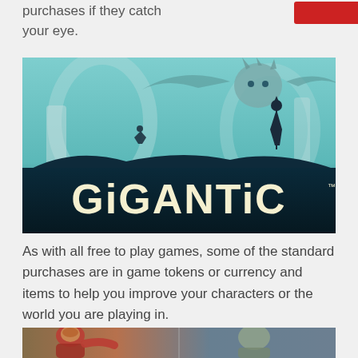purchases if they catch your eye.
[Figure (screenshot): Gigantic game promotional image with teal/dark fantasy art and bold cream-colored 'GiGANTiC' logo text at the bottom]
As with all free to play games, some of the standard purchases are in game tokens or currency and items to help you improve your characters or the world you are playing in.
[Figure (screenshot): Gigantic game characters screenshot showing armored fantasy heroes in action]